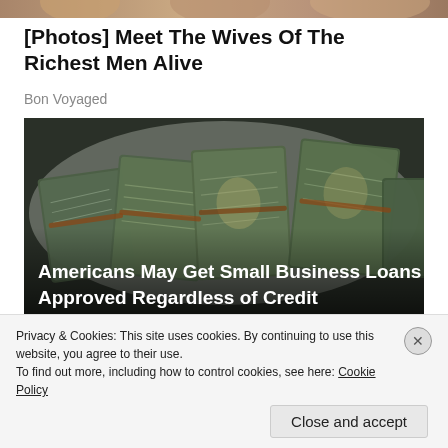[Figure (photo): Partial top image showing people, cropped at the top of the page]
[Photos] Meet The Wives Of The Richest Men Alive
Bon Voyaged
[Figure (photo): Photo of bundles of US dollar bills in a plastic bag, with overlay text 'Americans May Get Small Business Loans Approved Regardless of Credit']
Privacy & Cookies: This site uses cookies. By continuing to use this website, you agree to their use.
To find out more, including how to control cookies, see here: Cookie Policy
Close and accept